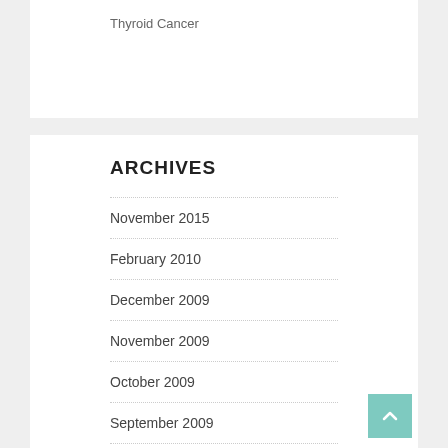Thyroid Cancer
ARCHIVES
November 2015
February 2010
December 2009
November 2009
October 2009
September 2009
July 2009